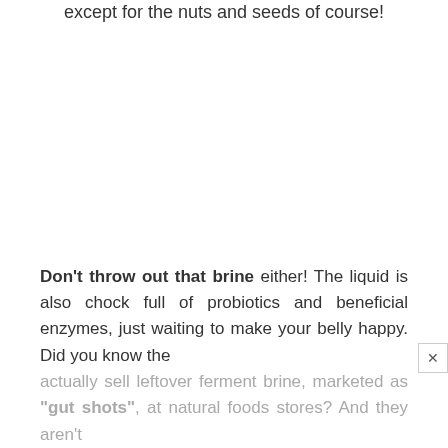except for the nuts and seeds of course!
Don't throw out that brine either! The liquid is also chock full of probiotics and beneficial enzymes, just waiting to make your belly happy. Did you know they actually sell leftover ferment brine, marketed as "gut shots", at natural foods stores? And they aren't